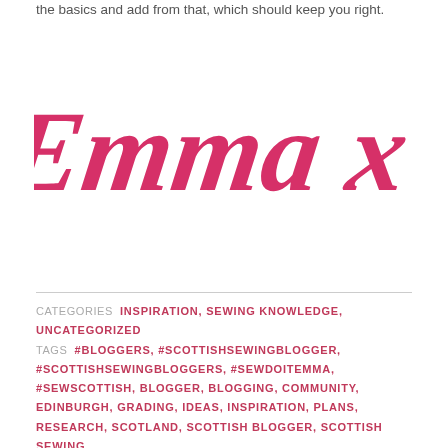the basics and add from that, which should keep you right.
[Figure (illustration): Cursive signature reading 'Emma x' in large pink/magenta script font]
CATEGORIES  INSPIRATION, SEWING KNOWLEDGE, UNCATEGORIZED
TAGS  #BLOGGERS, #SCOTTISHSEWINGBLOGGER, #SCOTTISHSEWINGBLOGGERS, #SEWDOITEMMA, #SEWSCOTTISH, BLOGGER, BLOGGING, COMMUNITY, EDINBURGH, GRADING, IDEAS, INSPIRATION, PLANS, RESEARCH, SCOTLAND, SCOTTISH BLOGGER, SCOTTISH SEWING